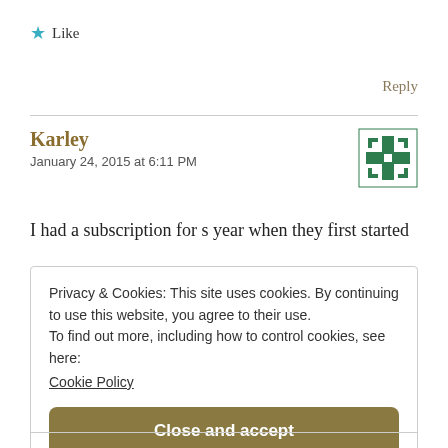★ Like
Reply
Karley
January 24, 2015 at 6:11 PM
[Figure (illustration): Green decorative avatar icon with cross/snowflake pattern]
I had a subscription for s year when they first started
Privacy & Cookies: This site uses cookies. By continuing to use this website, you agree to their use.
To find out more, including how to control cookies, see here:
Cookie Policy

Close and accept